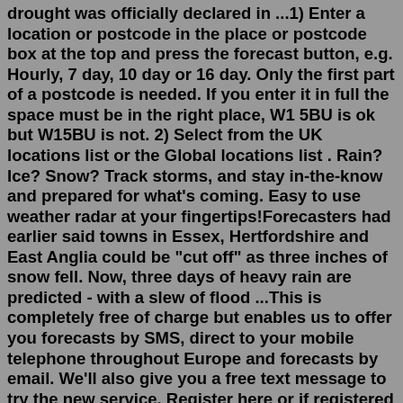drought was officially declared in ...1) Enter a location or postcode in the place or postcode box at the top and press the forecast button, e.g. Hourly, 7 day, 10 day or 16 day. Only the first part of a postcode is needed. If you enter it in full the space must be in the right place, W1 5BU is ok but W15BU is not. 2) Select from the UK locations list or the Global locations list . Rain? Ice? Snow? Track storms, and stay in-the-know and prepared for what's coming. Easy to use weather radar at your fingertips!Forecasters had earlier said towns in Essex, Hertfordshire and East Anglia could be "cut off" as three inches of snow fell. Now, three days of heavy rain are predicted - with a slew of flood ...This is completely free of charge but enables us to offer you forecasts by SMS, direct to your mobile telephone throughout Europe and forecasts by email. We'll also give you a free text message to try the new service. Register here or if registered already login . >> Latest UK Pressure Situation <<. A large area of high pressure centred to the... Hot weather forecast: